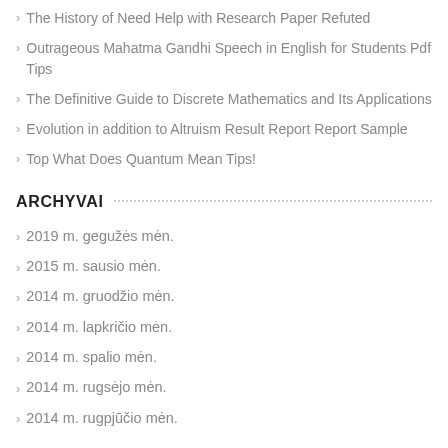The History of Need Help with Research Paper Refuted
Outrageous Mahatma Gandhi Speech in English for Students Pdf Tips
The Definitive Guide to Discrete Mathematics and Its Applications
Evolution in addition to Altruism Result Report Report Sample
Top What Does Quantum Mean Tips!
ARCHYVAI
2019 m. gegužės mėn.
2015 m. sausio mėn.
2014 m. gruodžio mėn.
2014 m. lapkričio mėn.
2014 m. spalio mėn.
2014 m. rugsėjo mėn.
2014 m. rugpjūčio mėn.